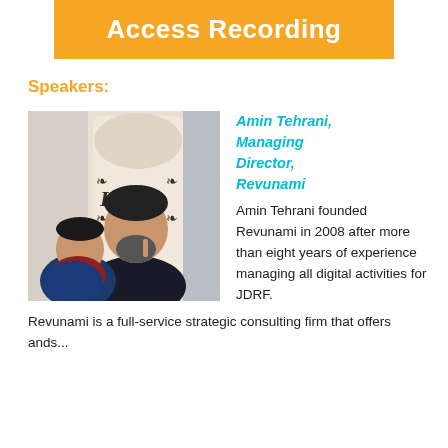Access Recording
Speakers:
[Figure (photo): Photo of Amin Tehrani holding a baby, standing in front of a door with decorative signage.]
Amin Tehrani, Managing Director, Revunami
Amin Tehrani founded Revunami in 2008 after more than eight years of experience managing all digital activities for JDRF. Revunami is a full-service strategic consulting firm that offers ands...